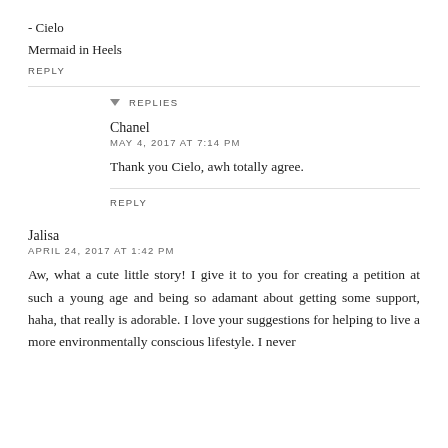- Cielo
Mermaid in Heels
REPLY
▾ REPLIES
Chanel
MAY 4, 2017 AT 7:14 PM
Thank you Cielo, awh totally agree.
REPLY
Jalisa
APRIL 24, 2017 AT 1:42 PM
Aw, what a cute little story! I give it to you for creating a petition at such a young age and being so adamant about getting some support, haha, that really is adorable. I love your suggestions for helping to live a more environmentally conscious lifestyle. I never